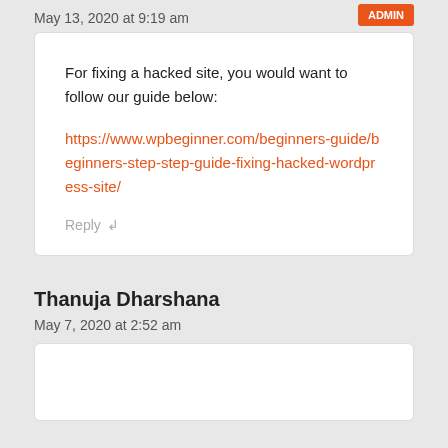May 13, 2020 at 9:19 am
For fixing a hacked site, you would want to follow our guide below: https://www.wpbeginner.com/beginners-guide/beginners-step-step-guide-fixing-hacked-wordpress-site/
Reply
Thanuja Dharshana
May 7, 2020 at 2:52 am